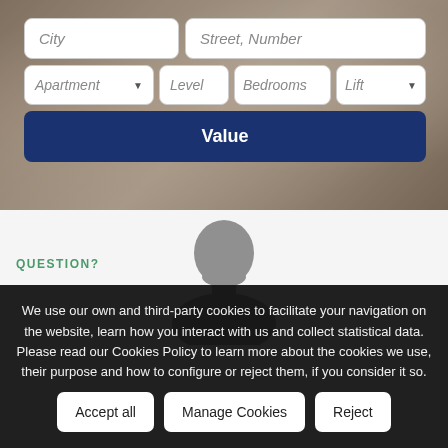[Figure (screenshot): Hero background image of a person using a laptop, blurred with brownish overlay]
City
Street, Number
Apartment
Level
Bedrooms
Lift
Value
[Figure (illustration): Gray silhouette of a person's head and shoulders on white background]
We use our own and third-party cookies to facilitate your navigation on the website, learn how you interact with us and collect statistical data. Please read our Cookies Policy to learn more about the cookies we use, their purpose and how to configure or reject them, if you consider it so.
QUESTION?
Accept all
Manage Cookies
Reject